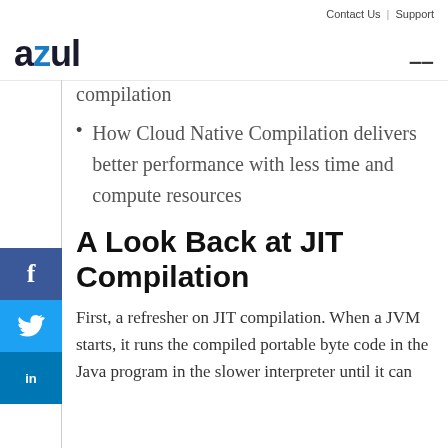Contact Us | Support
[Figure (logo): Azul logo with blue stylized 'z' letter, hamburger menu icon on right]
compilation
How Cloud Native Compilation delivers better performance with less time and compute resources
A Look Back at JIT Compilation
First, a refresher on JIT compilation. When a JVM starts, it runs the compiled portable byte code in the Java program in the slower interpreter until it can